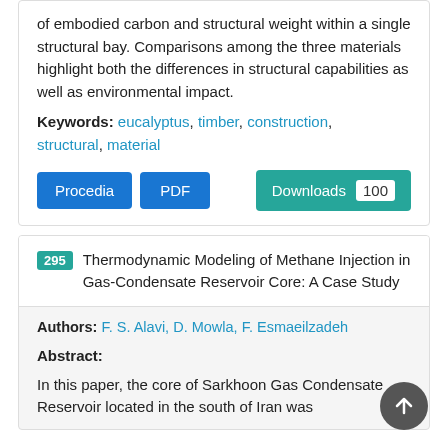of embodied carbon and structural weight within a single structural bay. Comparisons among the three materials highlight both the differences in structural capabilities as well as environmental impact.
Keywords: eucalyptus, timber, construction, structural, material
Procedia | PDF | Downloads 100
295 Thermodynamic Modeling of Methane Injection in Gas-Condensate Reservoir Core: A Case Study
Authors: F. S. Alavi, D. Mowla, F. Esmaeilzadeh
Abstract:
In this paper, the core of Sarkhoon Gas Condensate Reservoir located in the south of Iran was